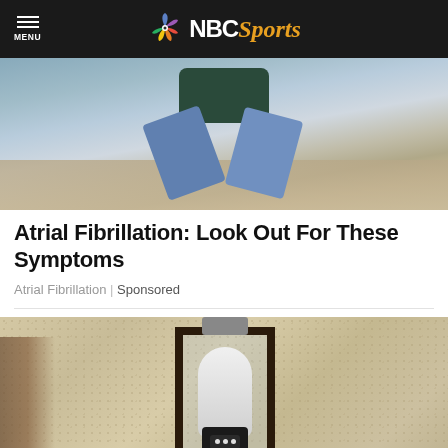NBC Sports
[Figure (photo): Person kneeling or crouching on a brick/stone paved surface, wearing jeans and a dark top]
Atrial Fibrillation: Look Out For These Symptoms
Atrial Fibrillation | Sponsored
[Figure (photo): Close-up of a smart security camera bulb installed inside an outdoor wall lantern fixture mounted on a stucco wall]